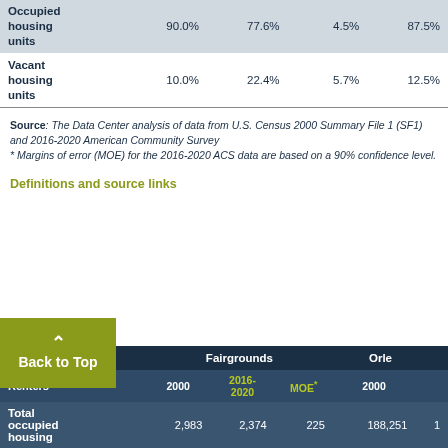|  |  |  |  |  |
| --- | --- | --- | --- | --- |
| Occupied housing units | 90.0% | 77.6% | 4.5% | 87.5% |
| Vacant housing units | 10.0% | 22.4% | 5.7% | 12.5% |
Source: The Data Center analysis of data from U.S. Census 2000 Summary File 1 (SF1) and 2016-2020 American Community Survey * Margins of error (MOE) for the 2016-2020 ACS data are based on a 90% confidence level.
Definitions and source links
|  | Fairgrounds |  |  | Orleans | 2000 |
| --- | --- | --- | --- | --- | --- |
| Renters | 2000 | 2016-2020 | MOE* | 2000 |  |
| Total occupied housing | 2,983 | 2,374 | 225 | 188,251 | 1 |